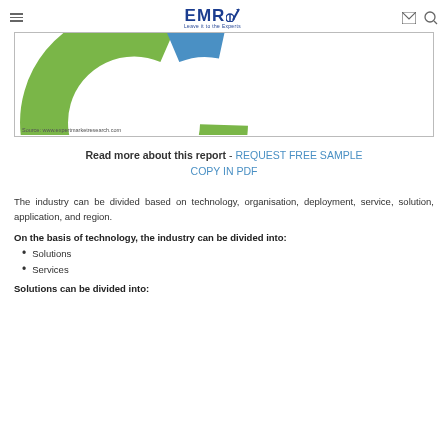EMR – Leave it to the Experts
[Figure (donut-chart): Partial donut chart showing segments in green and blue colors, cropped at top. Source: www.expertmarketresearch.com]
Read more about this report - REQUEST FREE SAMPLE COPY IN PDF
The industry can be divided based on technology, organisation, deployment, service, solution, application, and region.
On the basis of technology, the industry can be divided into:
Solutions
Services
Solutions can be divided into: